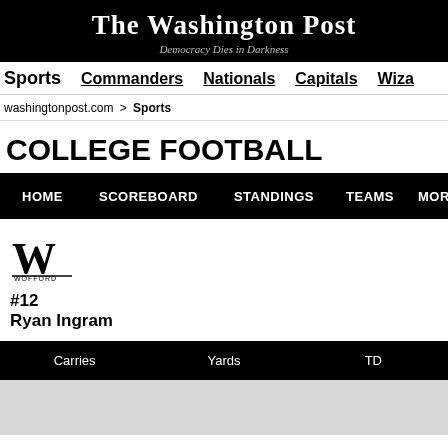The Washington Post
Democracy Dies in Darkness
Sports | Commanders | Nationals | Capitals | Wiza
washingtonpost.com > Sports
COLLEGE FOOTBALL
HOME | SCOREBOARD | STANDINGS | TEAMS | MORE...
[Figure (logo): Wofford W logo with WOFFORD text beneath]
#12
Ryan Ingram
| Carries | Yards | TD |
| --- | --- | --- |